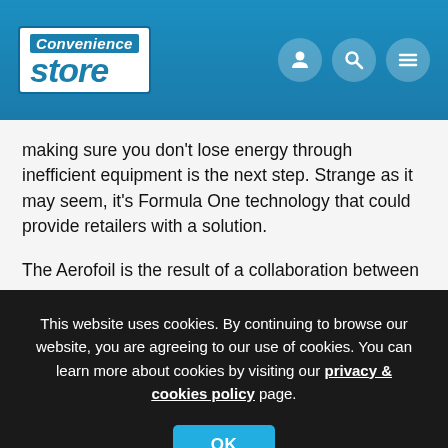[Figure (logo): Convenience Store magazine logo — white box with blue 'Convenience' badge and blue italic 'store' text]
making sure you don't lose energy through inefficient equipment is the next step. Strange as it may seem, it's Formula One technology that could provide retailers with a solution.
The Aerofoil is the result of a collaboration between
This website uses cookies. By continuing to browse our website, you are agreeing to our use of cookies. You can learn more about cookies by visiting our privacy & cookies policy page.
to prevent cold air from escaping.